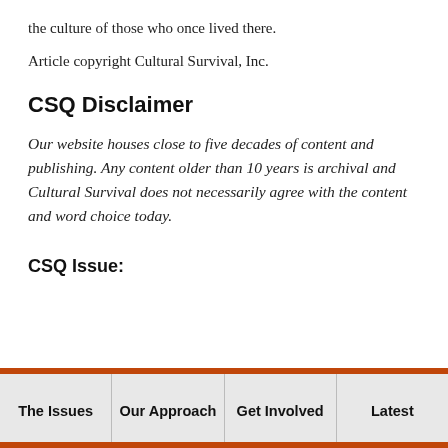the culture of those who once lived there.
Article copyright Cultural Survival, Inc.
CSQ Disclaimer
Our website houses close to five decades of content and publishing. Any content older than 10 years is archival and Cultural Survival does not necessarily agree with the content and word choice today.
CSQ Issue:
The Issues | Our Approach | Get Involved | Latest